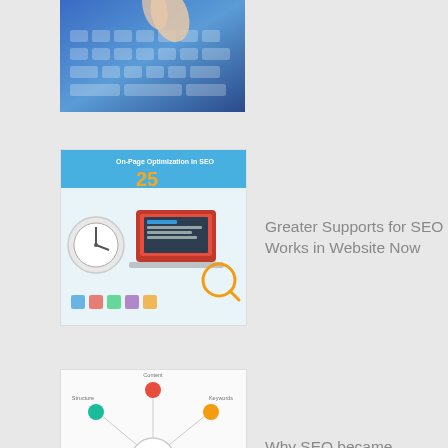[Figure (photo): Partial image of a person's hand typing on a blue-tinted keyboard, cropped at top of page]
[Figure (infographic): On-Page Optimization in SEO infographic with icons, clock, and computer screen on colorful background]
Greater Supports for SEO Works in Website Now
[Figure (infographic): SEO mindmap/network diagram with colored dots connected by lines around a central SEO circle on white background]
Why SEO became complex over time?